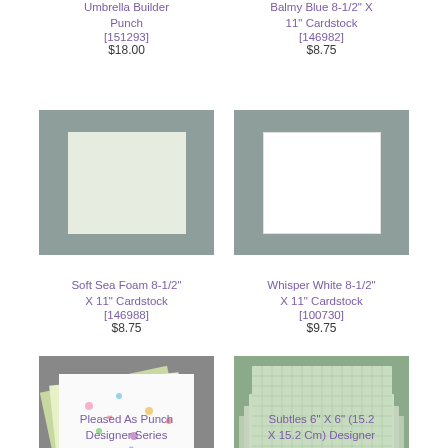Umbrella Builder Punch [151293] $18.00
Balmy Blue 8-1/2" X 11" Cardstock [146982] $8.75
[Figure (photo): Soft Sea Foam 8-1/2 x 11 cardstock sheet on gray background]
Soft Sea Foam 8-1/2" X 11" Cardstock [146988] $8.75
[Figure (photo): Whisper White 8-1/2 x 11 cardstock sheet on gray background]
Whisper White 8-1/2" X 11" Cardstock [100730] $9.75
[Figure (photo): Pleased As Punch Designer Series patterned paper fan on gray background]
Pleased As Punch Designer Series
[Figure (photo): Subtles 6 x 6 designer paper stack on gray/green background]
Subtles 6" X 6" (15.2 X 15.2 Cm) Designer